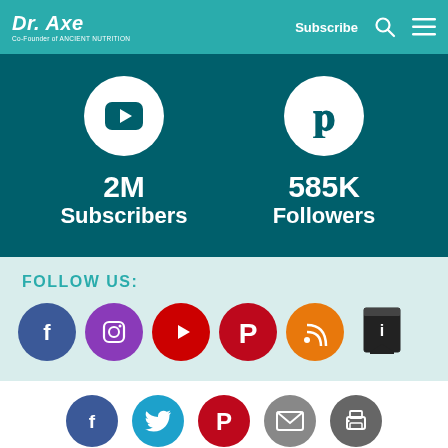Dr. Axe — Co-Founder of Ancient Nutrition | Subscribe
[Figure (infographic): YouTube icon circle with 2M Subscribers and Pinterest icon circle with 585K Followers on teal background]
FOLLOW US:
[Figure (infographic): Row of social media icons: Facebook, Instagram, YouTube, Pinterest, RSS, and Influence.co]
[Figure (infographic): Bottom share bar with Facebook, Twitter, Pinterest, Email, and Print icons]